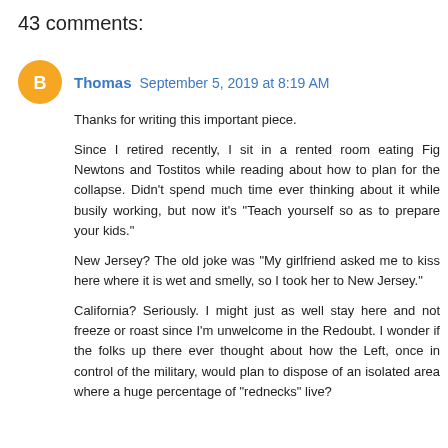43 comments:
Thomas  September 5, 2019 at 8:19 AM
Thanks for writing this important piece.

Since I retired recently, I sit in a rented room eating Fig Newtons and Tostitos while reading about how to plan for the collapse. Didn't spend much time ever thinking about it while busily working, but now it's "Teach yourself so as to prepare your kids."

New Jersey? The old joke was "My girlfriend asked me to kiss here where it is wet and smelly, so I took her to New Jersey."

California? Seriously. I might just as well stay here and not freeze or roast since I'm unwelcome in the Redoubt. I wonder if the folks up there ever thought about how the Left, once in control of the military, would plan to dispose of an isolated area where a huge percentage of "rednecks" live?